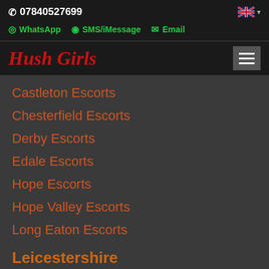07840527699
WhatsApp  SMS/iMessage  Email
Hush Girls
Castleton Escorts
Chesterfield Escorts
Derby Escorts
Edale Escorts
Hope Escorts
Hope Valley Escorts
Long Eaton Escorts
Leicestershire
Castle Donnington Escorts